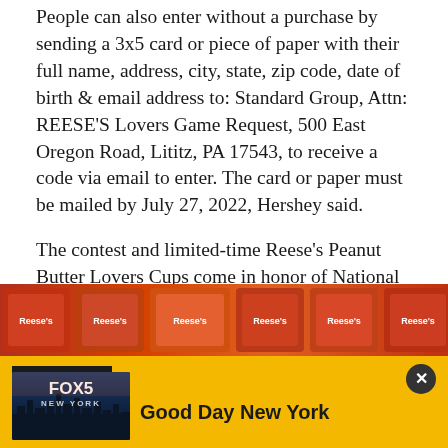People can also enter without a purchase by sending a 3x5 card or piece of paper with their full name, address, city, state, zip code, date of birth & email address to: Standard Group, Attn: REESE'S Lovers Game Request, 500 East Oregon Road, Lititz, PA 17543, to receive a code via email to enter. The card or paper must be mailed by July 27, 2022, Hershey said.
The contest and limited-time Reese's Peanut Butter Lovers Cups come in honor of National Lover's Day, which falls on April 23, Hershey said.
[Figure (photo): Partial image of Reese's candy packages in orange and red packaging]
[Figure (screenshot): Watch Live banner with FOX5 New York thumbnail and 'Good Day New York' show title on yellow/gold background]